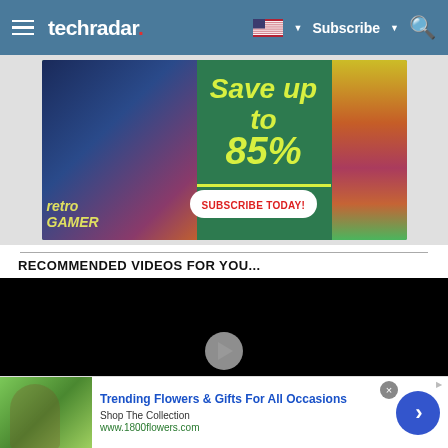techradar
[Figure (photo): Advertisement banner: Save up to 85% - Subscribe Today on green background with school supplies and Retro Gamer magazine]
RECOMMENDED VIDEOS FOR YOU...
[Figure (screenshot): Black video player area with play button]
[Figure (photo): Advertisement: Trending Flowers & Gifts For All Occasions - Shop The Collection - www.1800flowers.com]